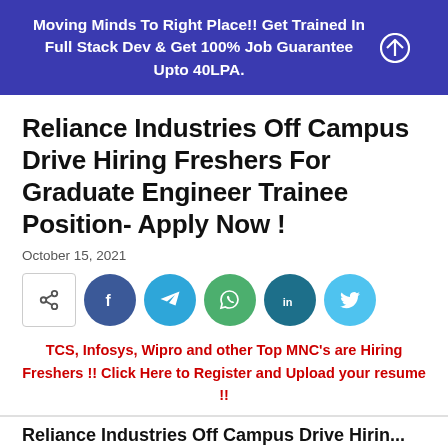Moving Minds To Right Place!! Get Trained In Full Stack Dev & Get 100% Job Guarantee Upto 40LPA.
Reliance Industries Off Campus Drive Hiring Freshers For Graduate Engineer Trainee Position- Apply Now !
October 15, 2021
[Figure (infographic): Social share buttons: share icon box, Facebook (blue), Telegram (blue), WhatsApp (green), LinkedIn (dark teal), Twitter (light blue)]
TCS, Infosys, Wipro and other Top MNC's are Hiring Freshers !! Click Here to Register and Upload your resume !!
Reliance Industries Off Campus Drive Hiring...